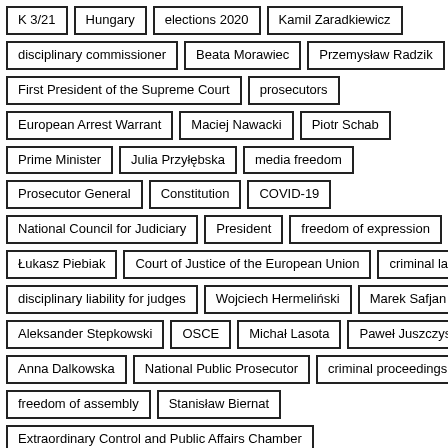K 3/21
Hungary
elections 2020
Kamil Zaradkiewicz
disciplinary commissioner
Beata Morawiec
Przemysław Radzik
First President of the Supreme Court
prosecutors
European Arrest Warrant
Maciej Nawacki
Piotr Schab
Prime Minister
Julia Przyłębska
media freedom
Prosecutor General
Constitution
COVID-19
National Council for Judiciary
President
freedom of expression
Łukasz Piebiak
Court of Justice of the European Union
criminal law
disciplinary liability for judges
Wojciech Hermeliński
Marek Safjan
Aleksander Stepkowski
OSCE
Michał Lasota
Paweł Juszczyszyn
Anna Dalkowska
National Public Prosecutor
criminal proceedings
freedom of assembly
Stanisław Biernat
Extraordinary Control and Public Affairs Chamber
Supreme Administrative Court
conditionality mechanism
conditionality
EU budget
Włodzimierz Wróbel
Criminal Chamber